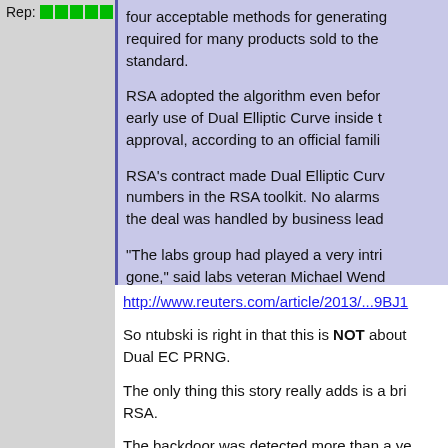Rep: [green bars]
four acceptable methods for generating... required for many products sold to the... standard.
RSA adopted the algorithm even before... early use of Dual Elliptic Curve inside t... approval, according to an official famili...
RSA's contract made Dual Elliptic Curv... numbers in the RSA toolkit. No alarms... the deal was handled by business lead...
"The labs group had played a very intri... gone," said labs veteran Michael Wend...
Within a year, major questions were ra... authority Bruce Schneier wrote that the... described as a back door."
http://www.reuters.com/article/2013/...9BJ1
So ntubski is right in that this is NOT about... Dual EC PRNG.
The only thing this story really adds is a bri... RSA.
The backdoor was detected more than a ye... http://cyberwarzone.com/did-nsa-put-...ptic